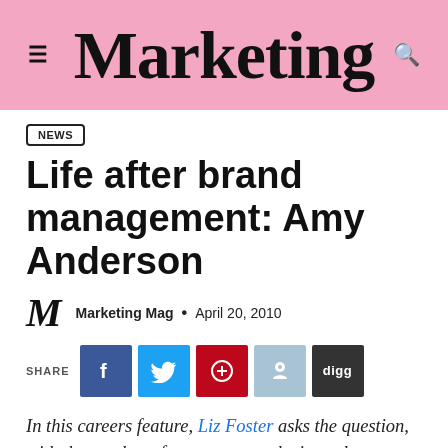Marketing
NEWS
Life after brand management: Amy Anderson
Marketing Mag · April 20, 2010
SHARE
In this careers feature, Liz Foster asks the question, with the number of corporate marketing roles shrinking as you climb the ladder, where do all the